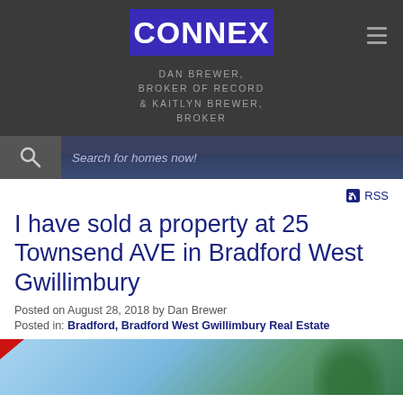[Figure (logo): CONNEX real estate logo — white bold text on purple/blue background]
DAN BREWER, BROKER OF RECORD & KAITLYN BREWER, BROKER
[Figure (screenshot): Search bar with magnifying glass icon and text 'Search for homes now!' over a city skyline background]
RSS
I have sold a property at 25 Townsend AVE in Bradford West Gwillimbury
Posted on August 28, 2018 by Dan Brewer
Posted in: Bradford, Bradford West Gwillimbury Real Estate
[Figure (photo): Property photo at 25 Townsend AVE showing a house with trees and a red diagonal banner overlay]